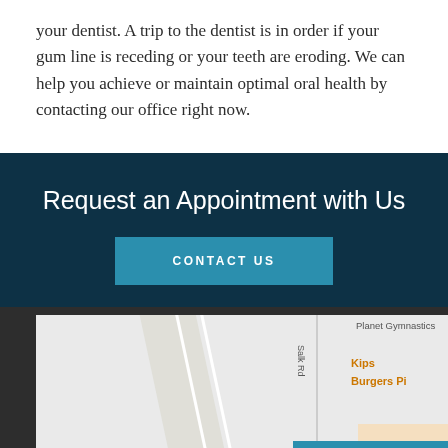your dentist. A trip to the dentist is in order if your gum line is receding or your teeth are eroding. We can help you achieve or maintain optimal oral health by contacting our office right now.
Request an Appointment with Us
CONTACT US
[Figure (map): Street map showing Salk Rd area with Planet Gymnastics, Kips, and Burgers Pi labels visible]
+ PATIENT FORMS